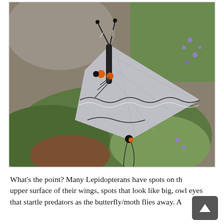[Figure (photo): Close-up photograph of a gray hairstreak butterfly perched on green flowering plants. The butterfly has gray wings with orange and black spots near the tail, and distinctive striped antennae with orange tips. The background shows green foliage and small purple flowers.]
What's the point? Many Lepidopterans have spots on the upper surface of their wings, spots that look like big, owl eyes that startle predators as the butterfly/moth flies away. A